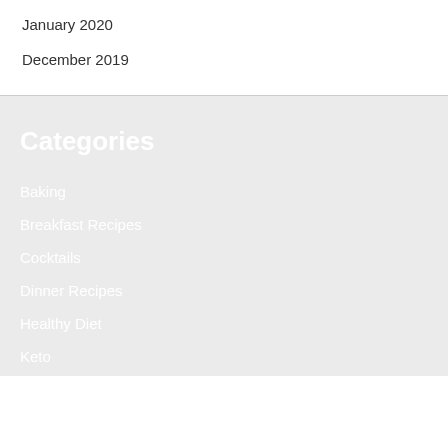January 2020
December 2019
Categories
Baking
Breakfast Recipes
Cocktails
Dinner Recipes
Healthy Diet
Keto
Kids